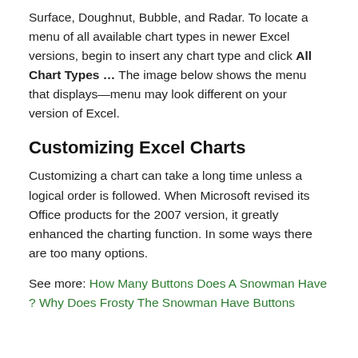Surface, Doughnut, Bubble, and Radar. To locate a menu of all available chart types in newer Excel versions, begin to insert any chart type and click All Chart Types ... The image below shows the menu that displays—menu may look different on your version of Excel.
Customizing Excel Charts
Customizing a chart can take a long time unless a logical order is followed. When Microsoft revised its Office products for the 2007 version, it greatly enhanced the charting function. In some ways there are too many options.
See more: How Many Buttons Does A Snowman Have ? Why Does Frosty The Snowman Have Buttons